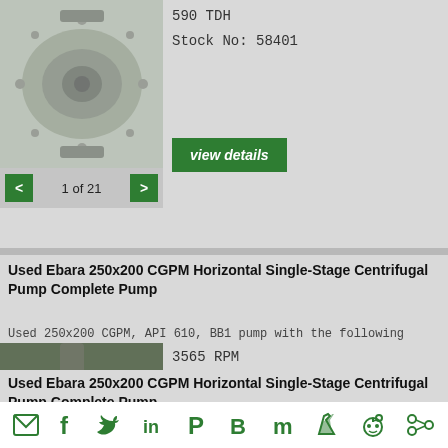590 TDH
Stock No: 58401
[Figure (photo): Industrial centrifugal pump component, metallic, partially disassembled]
1 of 21
Used Ebara 250x200 CGPM Horizontal Single-Stage Centrifugal Pump Complete Pump
Used 250x200 CGPM, API 610, BB1 pump with the following fe...
[Figure (photo): Used Ebara industrial centrifugal pump, green/weathered metal, outdoor setting]
3565 RPM
3500 GPM
590 TDH
Stock No: 58399
1 of 9
Used Ebara 250x200 CGPM Horizontal Single-Stage Centrifugal Pump Complete Pump
Used 250x200 CGPM, API 610, BB1 pump with the following fe...
[Figure (photo): Used Ebara industrial centrifugal pump, partial view at bottom of page]
Email | Facebook | Twitter | LinkedIn | Pinterest | Blogger | Mix | Quora | Reddit | Share